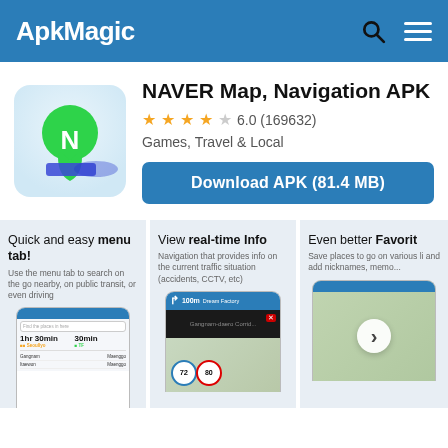ApkMagic
NAVER Map, Navigation APK
★★★★☆ 6.0 (169632)  Games, Travel & Local
Download APK (81.4 MB)
[Figure (screenshot): Quick and easy menu tab! - Use the menu tab to search on the go nearby, on public transit, or even driving. Shows phone mockup with navigation routes.]
[Figure (screenshot): View real-time Info - Navigation that provides info on the current traffic situation (accidents, CCTV, etc). Shows phone mockup with navigation map showing 100m to Dream Factory.]
[Figure (screenshot): Even better Favorites - Save places to go on various lists and add nicknames, memo... Shows phone mockup with map view partially visible.]